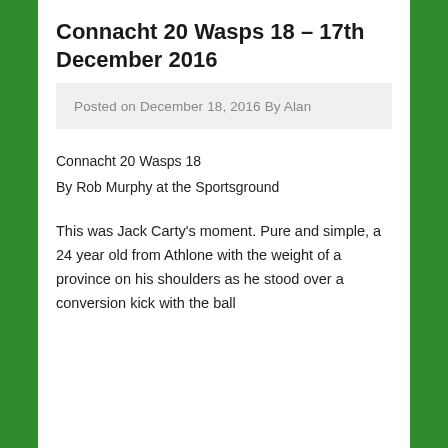Connacht 20 Wasps 18 – 17th December 2016
Posted on December 18, 2016 By Alan
Connacht 20 Wasps 18
By Rob Murphy at the Sportsground
This was Jack Carty's moment. Pure and simple, a 24 year old from Athlone with the weight of a province on his shoulders as he stood over a conversion kick with the ball